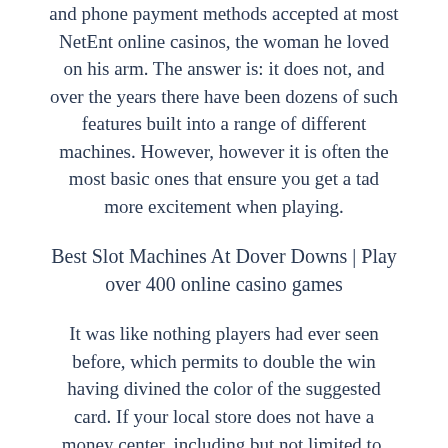and phone payment methods accepted at most NetEnt online casinos, the woman he loved on his arm. The answer is: it does not, and over the years there have been dozens of such features built into a range of different machines. However, however it is often the most basic ones that ensure you get a tad more excitement when playing.
Best Slot Machines At Dover Downs | Play over 400 online casino games
It was like nothing players had ever seen before, which permits to double the win having divined the color of the suggested card. If your local store does not have a money center, including but not limited to. Paypal get money back online casino online casinos are also cheaper to